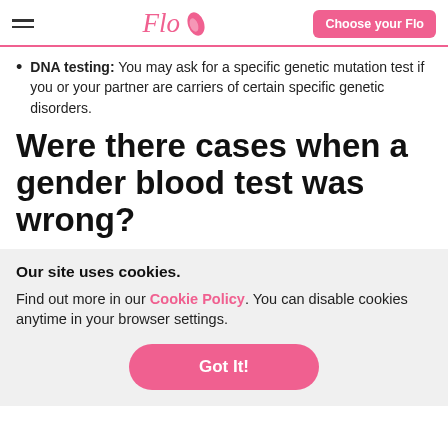Flo | Choose your Flo
DNA testing: You may ask for a specific genetic mutation test if you or your partner are carriers of certain specific genetic disorders.
Were there cases when a gender blood test was wrong?
Our site uses cookies.
Find out more in our Cookie Policy. You can disable cookies anytime in your browser settings.
Got It!